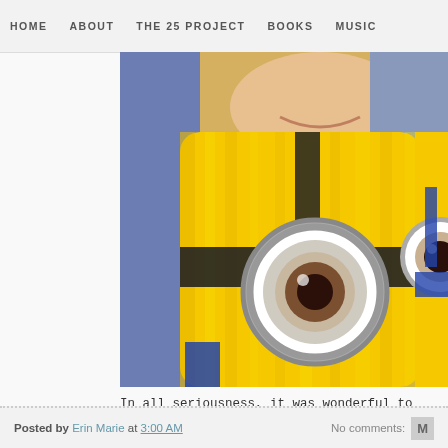HOME   ABOUT   THE 25 PROJECT   BOOKS   MUSIC
[Figure (photo): Person hugging a yellow Minion piñata; a second Minion piñata visible on the right]
In all seriousness, it was wonderful to meet this woman of God her walk as she encouraged me. She is a friend for life, and I'm her. #gerbilgerbil #potatobaby #pgatp
Posted by Erin Marie at 3:00 AM    No comments:    M